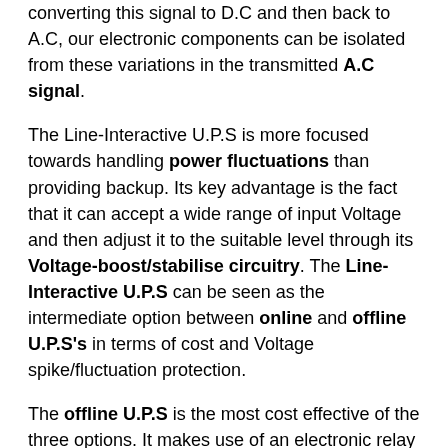converting this signal to D.C and then back to A.C, our electronic components can be isolated from these variations in the transmitted A.C signal.
The Line-Interactive U.P.S is more focused towards handling power fluctuations than providing backup. Its key advantage is the fact that it can accept a wide range of input Voltage and then adjust it to the suitable level through its Voltage-boost/stabilise circuitry. The Line-Interactive U.P.S can be seen as the intermediate option between online and offline U.P.S's in terms of cost and Voltage spike/fluctuation protection.
The offline U.P.S is the most cost effective of the three options. It makes use of an electronic relay switch to shift from main power to backup in the event of an outage. This comes with the tradeoff of greater A.C fluctuations which can potentially damage sensitive electronics. That being said, the offline U.P.S works perfectly well with everyday